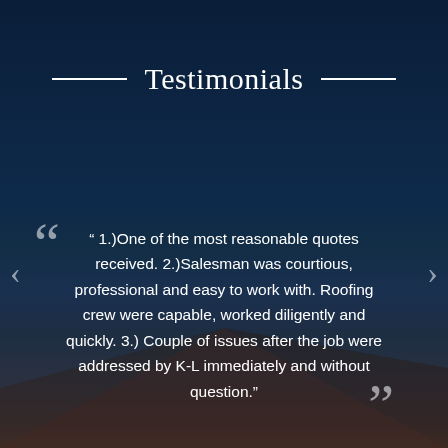Testimonials
“ 1.)One of the most reasonable quotes received. 2.)Salesman was courtious, professional and easy to work with. Roofing crew were capable, worked diligently and quickly. 3.) Couple of issues after the job were addressed by K-L immediately and without question.”